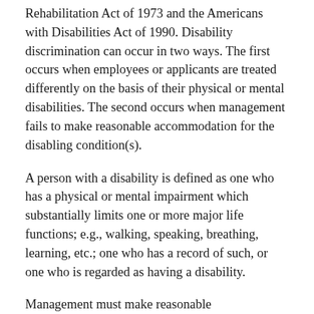Rehabilitation Act of 1973 and the Americans with Disabilities Act of 1990. Disability discrimination can occur in two ways. The first occurs when employees or applicants are treated differently on the basis of their physical or mental disabilities. The second occurs when management fails to make reasonable accommodation for the disabling condition(s).
A person with a disability is defined as one who has a physical or mental impairment which substantially limits one or more major life functions; e.g., walking, speaking, breathing, learning, etc.; one who has a record of such, or one who is regarded as having a disability.
Management must make reasonable accommodation to the known physical or mental limitations of qualified applicants or employees with disabilities unless the accommodation would impose an undue hardship upon